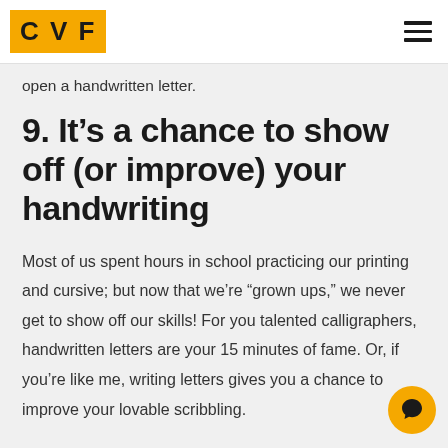CVF
open a handwritten letter.
9. It’s a chance to show off (or improve) your handwriting
Most of us spent hours in school practicing our printing and cursive; but now that we’re “grown ups,” we never get to show off our skills! For you talented calligraphers, handwritten letters are your 15 minutes of fame. Or, if you’re like me, writing letters gives you a chance to improve your lovable scribbling.